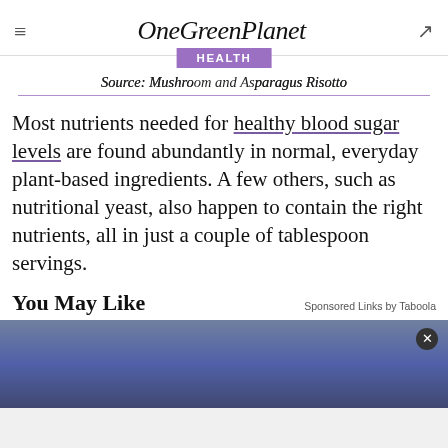OneGreenPlanet
Source: Mushroom and Asparagus Risotto
Most nutrients needed for healthy blood sugar levels are found abundantly in normal, everyday plant-based ingredients. A few others, such as nutritional yeast, also happen to contain the right nutrients, all in just a couple of tablespoon servings.
You May Like
Sponsored Links by Taboola
[Figure (photo): Partially visible photo at bottom of page with a close button overlay]